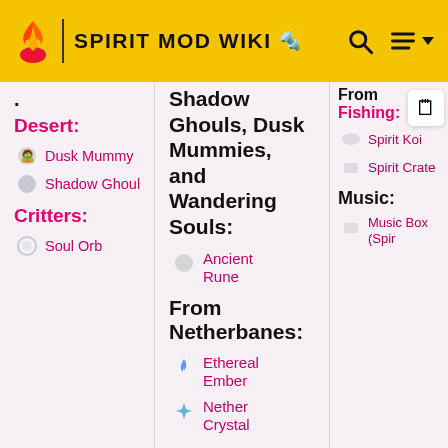SPIRIT MOD WIKI
Desert:
Dusk Mummy
Shadow Ghoul
Critters:
Soul Orb
Shadow Ghouls, Dusk Mummies, and Wandering Souls:
Ancient Rune
From Netherbanes:
Ethereal Ember
Nether Crystal
From Fishing:
Spirit Koi
Spirit Crate
Music:
Music Box (Spir...